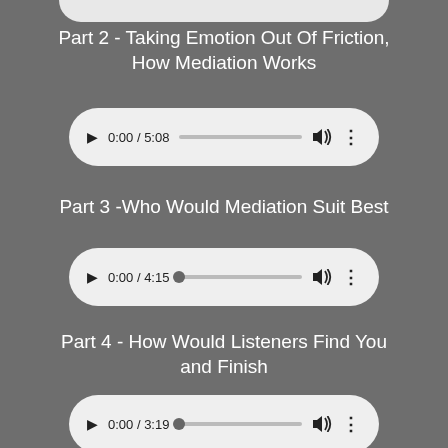[Figure (screenshot): Top partial audio player bar from previous section, partially visible at top of page]
Part 2 - Taking Emotion Out Of Friction, How Mediation Works
[Figure (screenshot): Audio player showing 0:00 / 5:08 with play button, progress bar, volume icon, and more options icon]
Part 3 -Who Would Mediation Suit Best
[Figure (screenshot): Audio player showing 0:00 / 4:15 with play button, progress bar with dot, volume icon, and more options icon]
Part 4 - How Would Listeners Find You and Finish
[Figure (screenshot): Audio player showing 0:00 / 3:19 with play button, progress bar with dot, volume icon, and more options icon]